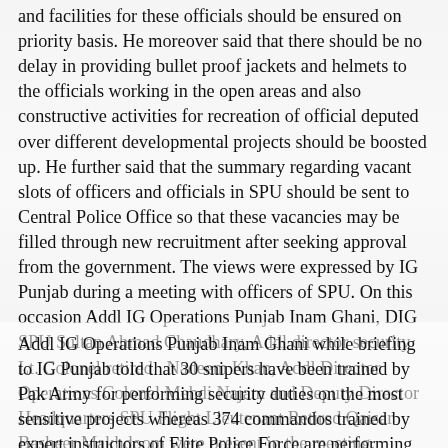and facilities for these officials should be ensured on priority basis. He moreover said that there should be no delay in providing bullet proof jackets and helmets to the officials working in the open areas and also constructive activities for recreation of official deputed over different developmental projects should be boosted up. He further said that the summary regarding vacant slots of officers and officials in SPU should be sent to Central Police Office so that these vacancies may be filled through new recruitment after seeking approval from the government. The views were expressed by IG Punjab during a meeting with officers of SPU. On this occasion Addl IG Operations Punjab Inam Ghani, DIG SPU Sultan Ahmad Chaudhary, Addl director security Lt. Colonel retired  Nadeem Khan, Addl Director Operations Colonel Mehdi Najam and Deputy Director Headquarters SPU Flight Lieutenant Retired Qaisar Basheer Makhdoom were present in the meeting.
Addl IG Operations Punjab Inam Ghani while briefing to IG Punjab told that 30 snipers have been trained by Pak Army for performing security duties on the most sensitive projects whereas 374 commandos trained by expert instructors of Elite Police Force are performing their duties in different important